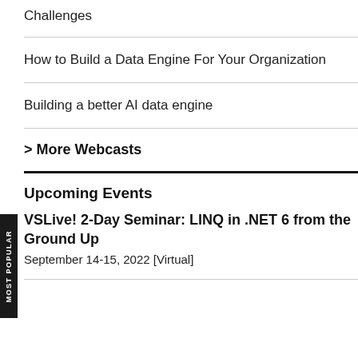Challenges
How to Build a Data Engine For Your Organization
Building a better AI data engine
> More Webcasts
Upcoming Events
VSLive! 2-Day Seminar: LINQ in .NET 6 from the Ground Up
September 14-15, 2022 [Virtual]